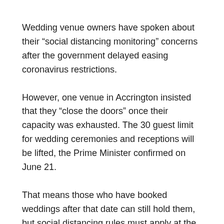Wedding venue owners have spoken about their “social distancing monitoring” concerns after the government delayed easing coronavirus restrictions.
However, one venue in Accrington insisted that they “close the doors” once their capacity was exhausted. The 30 guest limit for wedding ceremonies and receptions will be lifted, the Prime Minister confirmed on June 21.
That means those who have booked weddings after that date can still hold them, but social distancing rules must apply at the venue. As with current funeral rules, the number of attendees is determined by how many people the venue can safely accommodate with social distancing measures in place.